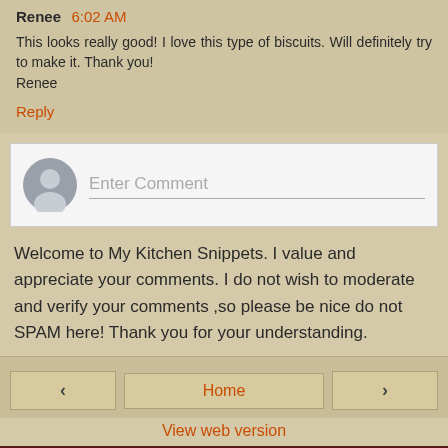Renee 6:02 AM
This looks really good! I love this type of biscuits. Will definitely try to make it. Thank you!
Renee
Reply
[Figure (screenshot): Comment input form with avatar icon and 'Enter Comment' placeholder text]
Welcome to My Kitchen Snippets. I value and appreciate your comments. I do not wish to moderate and verify your comments ,so please be nice do not SPAM here! Thank you for your understanding.
< Home >
View web version
About Me